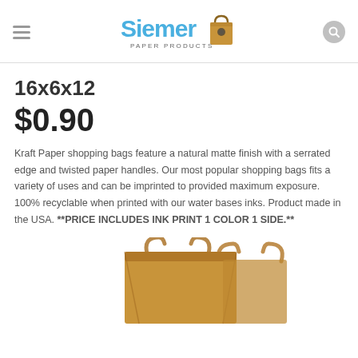[Figure (logo): Siemer Paper Products logo with illustrated kraft paper shopping bag]
16x6x12
$0.90
Kraft Paper shopping bags feature a natural matte finish with a serrated edge and twisted paper handles. Our most popular shopping bags fits a variety of uses and can be imprinted to provided maximum exposure. 100% recyclable when printed with our water bases inks. Product made in the USA. **PRICE INCLUDES INK PRINT 1 COLOR 1 SIDE.**
[Figure (photo): Kraft paper shopping bag with twisted handles, partially visible from below]